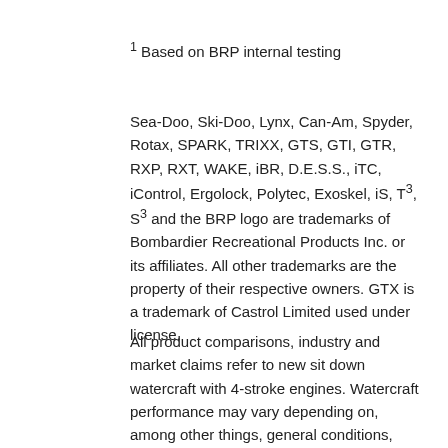1 Based on BRP internal testing
Sea-Doo, Ski-Doo, Lynx, Can-Am, Spyder, Rotax, SPARK, TRIXX, GTS, GTI, GTR, RXP, RXT, WAKE, iBR, D.E.S.S., iTC, iControl, Ergolock, Polytec, Exoskel, iS, T3, S3 and the BRP logo are trademarks of Bombardier Recreational Products Inc. or its affiliates. All other trademarks are the property of their respective owners. GTX is a trademark of Castrol Limited used under license.
All product comparisons, industry and market claims refer to new sit down watercraft with 4-stroke engines. Watercraft performance may vary depending on, among other things, general conditions, ambient temperature, and altitude, riding ability and rider/passenger weight. Testing of competitive models done under identical conditions. Not all functions